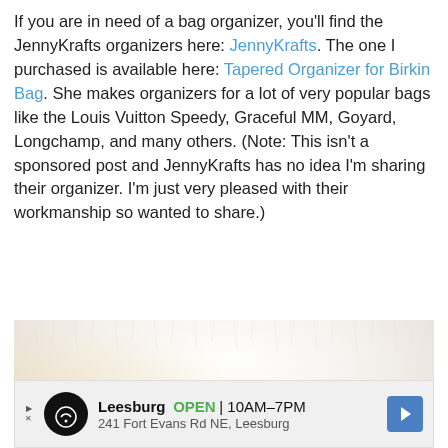If you are in need of a bag organizer, you'll find the JennyKrafts organizers here: JennyKrafts. The one I purchased is available here: Tapered Organizer for Birkin Bag. She makes organizers for a lot of very popular bags like the Louis Vuitton Speedy, Graceful MM, Goyard, Longchamp, and many others. (Note: This isn't a sponsored post and JennyKrafts has no idea I'm sharing their organizer. I'm just very pleased with their workmanship so wanted to share.)
[Figure (photo): A photo of a patterned bag organizer (brown/orange/cream colors with decorative print) placed on a white fluffy fur surface, partially visible at bottom.]
Leesburg OPEN 10AM–7PM 241 Fort Evans Rd NE, Leesburg